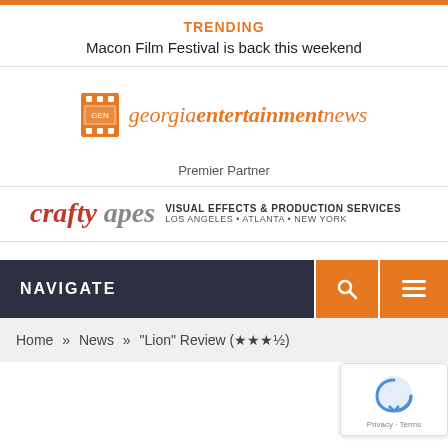TRENDING
Macon Film Festival is back this weekend
[Figure (logo): Georgia Entertainment News logo with orange film reel icon and italic text 'georgiaentertainmentnews' in orange]
Premier Partner
[Figure (logo): Crafty Apes logo: 'crafty' in red italic bold, 'apes' in gray italic bold, with 'VISUAL EFFECTS & PRODUCTION SERVICES / LOS ANGELES • ATLANTA • NEW YORK' in dark text]
NAVIGATE
Home » News » "Lion" Review (★★★½)